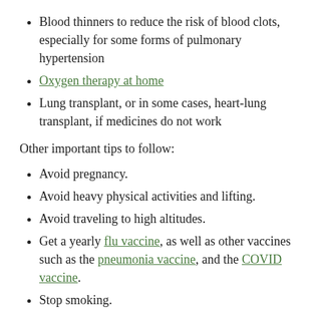Blood thinners to reduce the risk of blood clots, especially for some forms of pulmonary hypertension
Oxygen therapy at home
Lung transplant, or in some cases, heart-lung transplant, if medicines do not work
Other important tips to follow:
Avoid pregnancy.
Avoid heavy physical activities and lifting.
Avoid traveling to high altitudes.
Get a yearly flu vaccine, as well as other vaccines such as the pneumonia vaccine, and the COVID vaccine.
Stop smoking.